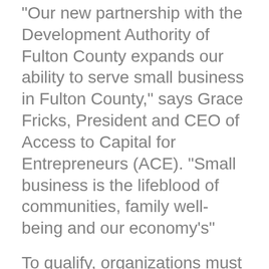“Our new partnership with the Development Authority of Fulton County expands our ability to serve small business in Fulton County,” says Grace Fricks, President and CEO of Access to Capital for Entrepreneurs (ACE). “Small business is the lifeblood of communities, family well-being and our economy’s”
To qualify, organizations must be in business at least 2 years. All applications will be accepted online. Businesses will be asked to provide required documentation to ACE by fax, mail, or email. A final decision will be